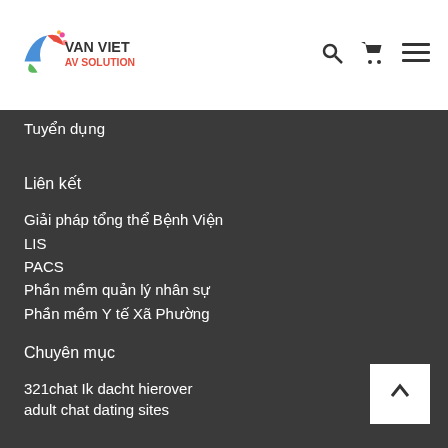[Figure (logo): Van Viet AV Solution logo with colorful bird/flower motif and red/blue/green text]
Tuyển dụng
Liên kết
Giải pháp tổng thể Bệnh Viện
LIS
PACS
Phần mềm quản lý nhân sự
Phần mềm Y tế Xã Phường
Chuyên mục
321chat Ik dacht hierover
adult chat dating sites